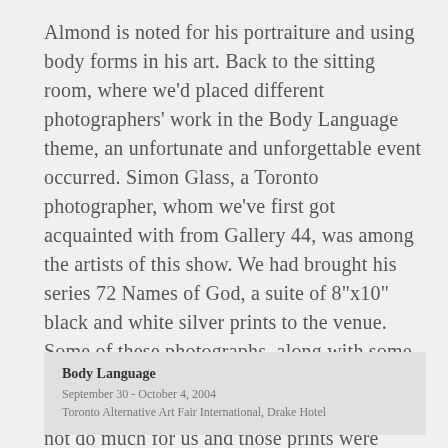Almond is noted for his portraiture and using body forms in his art. Back to the sitting room, where we'd placed different photographers' work in the Body Language theme, an unfortunate and unforgettable event occurred. Simon Glass, a Toronto photographer, whom we've first got acquainted with from Gallery 44, was among the artists of this show. We had brought his series 72 Names of God, a suite of 8"x10" black and white silver prints to the venue. Some of these photographs, along with some from the Doll Mouths series were stolen during the opening night. The organizer could not do much for us and those prints were never recovered.
Body Language
September 30 - October 4, 2004
Toronto Alternative Art Fair International, Drake Hotel